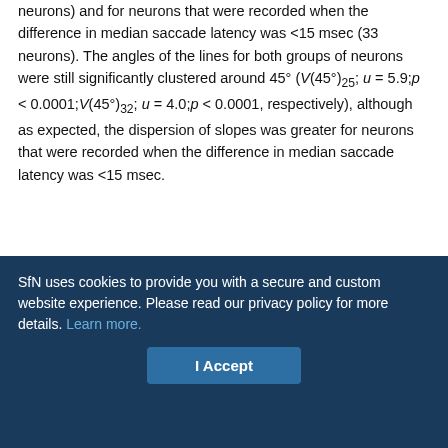latency between the two conditions was at least 15 msec (20 neurons) and for neurons that were recorded when the difference in median saccade latency was <15 msec (33 neurons). The angles of the lines for both groups of neurons were still significantly clustered around 45° (V(45°)25; u = 5.9;p < 0.0001;V(45°)32; u = 4.0;p < 0.0001, respectively), although as expected, the dispersion of slopes was greater for neurons that were recorded when the difference in median saccade latency was <15 msec.
Furthermore, consistent with a lack of an effect of target position repetition across trials on accuracy, the maximum asymptotic level of discrimination was also not affected by whether the target position changed or remained the same across consecutive trials (Wilcoxon signed ranks test; z58 < 0.1). The lack of a change in the asymptotic
SfN uses cookies to provide you with a secure and custom website experience. Please read our privacy policy for more details. Learn more.
I Accept